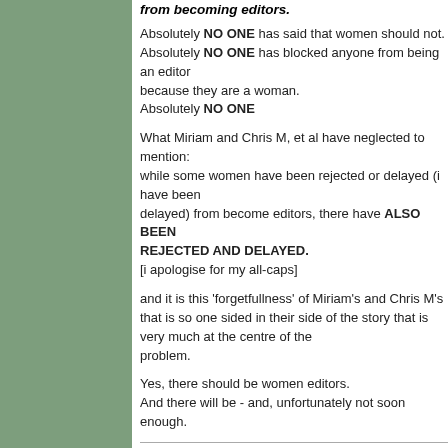from becoming editors.
Absolutely NO ONE has said that women should not.
Absolutely NO ONE has blocked anyone from being an editor because they are a woman.
Absolutely NO ONE
What Miriam and Chris M, et al have neglected to mention: while some women have been rejected or delayed (i have been delayed) from become editors, there have ALSO BEEN MEN REJECTED AND DELAYED.
[i apologise for my all-caps]
and it is this 'forgetfullness' of Miriam's and Chris M's that is so one sided in their side of the story that is very much at the centre of the problem.
Yes, there should be women editors.
And there will be - and, unfortunately not soon enough.
censored articles
by chris - the unmanageables   Mon Sep 11, 2006
Womyn and political structures:- its black and white a
Erica Turgida:- revisiting the spectre of domestic abus
as to the unmanageables, we all speak for ourselves.